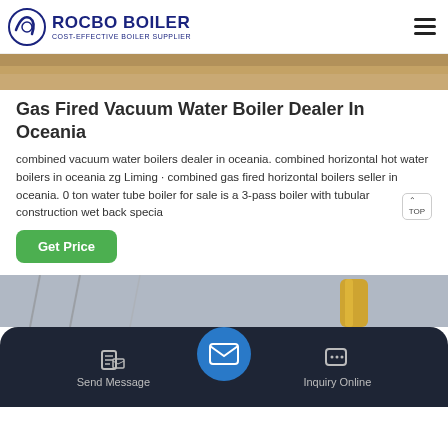ROCBO BOILER - COST-EFFECTIVE BOILER SUPPLIER
[Figure (photo): Top cropped image of boiler or industrial equipment surface with warm brown tones]
Gas Fired Vacuum Water Boiler Dealer In Oceania
combined vacuum water boilers dealer in oceania. combined horizontal hot water boilers in oceania zg Liming · combined gas fired horizontal boilers seller in oceania. 0 ton water tube boiler for sale is a 3-pass boiler with tubular construction wet back specia
[Figure (screenshot): Green Get Price button]
[Figure (photo): Bottom image showing industrial facility interior with steel structure and yellow cylindrical object]
Send Message   Inquiry Online